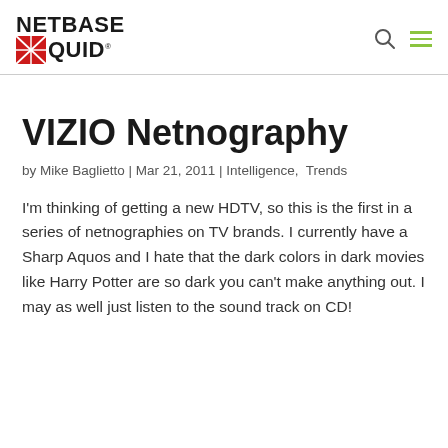NETBASE QUID
VIZIO Netnography
by Mike Baglietto | Mar 21, 2011 | Intelligence,  Trends
I'm thinking of getting a new HDTV, so this is the first in a series of netnographies on TV brands. I currently have a Sharp Aquos and I hate that the dark colors in dark movies like Harry Potter are so dark you can't make anything out. I may as well just listen to the sound track on CD!